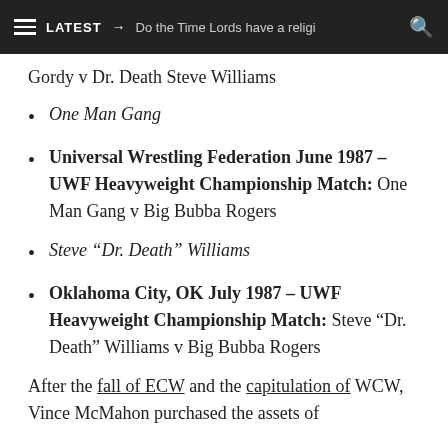≡ LATEST → Do the Time Lords have a religi 🔍
Gordy v Dr. Death Steve Williams
One Man Gang
Universal Wrestling Federation June 1987 – UWF Heavyweight Championship Match: One Man Gang v Big Bubba Rogers
Steve "Dr. Death" Williams
Oklahoma City, OK July 1987 – UWF Heavyweight Championship Match: Steve "Dr. Death" Williams v Big Bubba Rogers
After the fall of ECW and the capitulation of WCW, Vince McMahon purchased the assets of